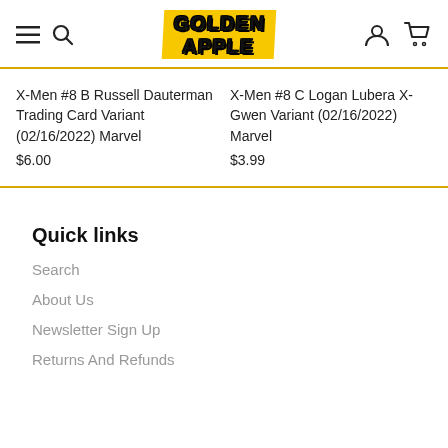Golden Apple comics shop header with logo, hamburger menu, search, account and cart icons
X-Men #8 B Russell Dauterman Trading Card Variant (02/16/2022) Marvel
$6.00
X-Men #8 C Logan Lubera X-Gwen Variant (02/16/2022) Marvel
$3.99
Quick links
Search
About Us
Newsletter Sign Up
Returns And Refunds